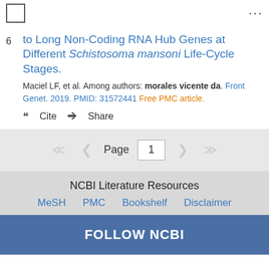6. to Long Non-Coding RNA Hub Genes at Different Schistosoma mansoni Life-Cycle Stages. Maciel LF, et al. Among authors: morales vicente da. Front Genet. 2019. PMID: 31572441 Free PMC article.
Cite  Share
Page 1
NCBI Literature Resources
MeSH  PMC  Bookshelf  Disclaimer
FOLLOW NCBI